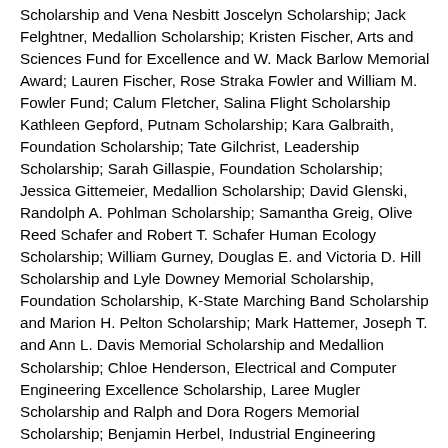Scholarship and Vena Nesbitt Joscelyn Scholarship; Jack Felghtner, Medallion Scholarship; Kristen Fischer, Arts and Sciences Fund for Excellence and W. Mack Barlow Memorial Award; Lauren Fischer, Rose Straka Fowler and William M. Fowler Fund; Calum Fletcher, Salina Flight Scholarship Kathleen Gepford, Putnam Scholarship; Kara Galbraith, Foundation Scholarship; Tate Gilchrist, Leadership Scholarship; Sarah Gillaspie, Foundation Scholarship; Jessica Gittemeier, Medallion Scholarship; David Glenski, Randolph A. Pohlman Scholarship; Samantha Greig, Olive Reed Schafer and Robert T. Schafer Human Ecology Scholarship; William Gurney, Douglas E. and Victoria D. Hill Scholarship and Lyle Downey Memorial Scholarship, Foundation Scholarship, K-State Marching Band Scholarship and Marion H. Pelton Scholarship; Mark Hattemer, Joseph T. and Ann L. Davis Memorial Scholarship and Medallion Scholarship; Chloe Henderson, Electrical and Computer Engineering Excellence Scholarship, Laree Mugler Scholarship and Ralph and Dora Rogers Memorial Scholarship; Benjamin Herbel, Industrial Engineering Excellence Fund and Ralph and Dora Rogers Memorial Scholarship; Audrey Hitchcock, Leadership Scholarship; Sophia Hitchcock, Foundation Scholarship; Thomas Hobson, Business Administration Dean's Scholarship and Finance Advisory Board Scholarship; Andrew Hovis, Activity Scholarship and Joseph R. Henderson Memorial Scholarship; Samantha Hubbard, Joseph T. and Ann L. Davis Memorial Scholarship; Christian Hughes, G.E. Johnson Engineering Scholarship and IBM Employees Scholarship; Zachariah Jalilpoor, Memorial Scholarship; Molly Jennings, Arts and Sciences Fund